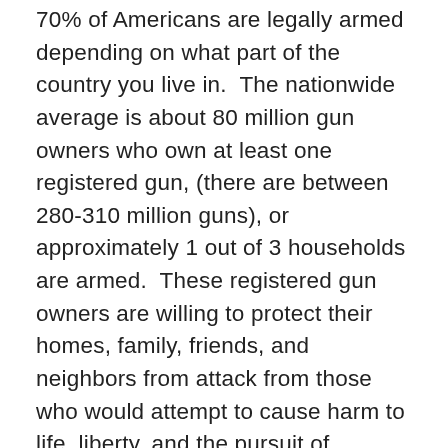70% of Americans are legally armed depending on what part of the country you live in.  The nationwide average is about 80 million gun owners who own at least one registered gun, (there are between 280-310 million guns), or approximately 1 out of 3 households are armed.  These registered gun owners are willing to protect their homes, family, friends, and neighbors from attack from those who would attempt to cause harm to life, liberty, and the pursuit of freedom in our country.
Progeny Press has created a great study guide to get young people interested in American History using a simple story with characters they can relate too.  Would you like to learn